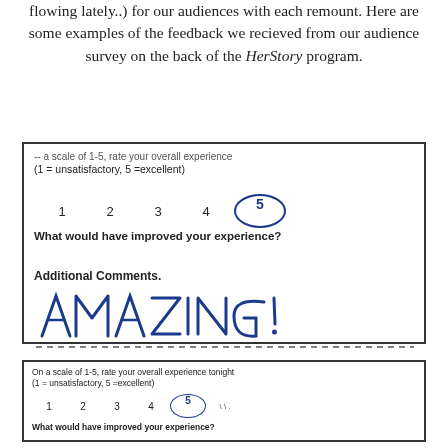flowing lately..) for our audiences with each remount. Here are some examples of the feedback we recieved from our audience survey on the back of the HerStory program.
[Figure (other): Scanned audience survey card showing a rating scale 1-5 with 5 circled in blue pen, question 'What would have improved your experience?', 'Additional Comments.' section with handwritten 'AMAZING!' in large blue letters followed by a dashed line.]
[Figure (other): Second scanned audience survey card showing rating scale 1-5 with 5 circled, and question 'What would have improved your experience?']